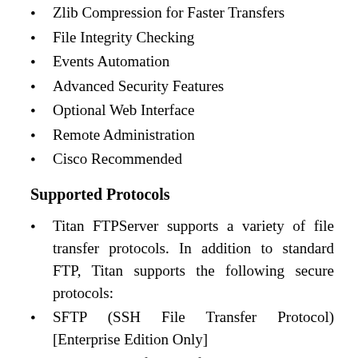Zlib Compression for Faster Transfers
File Integrity Checking
Events Automation
Advanced Security Features
Optional Web Interface
Remote Administration
Cisco Recommended
Supported Protocols
Titan FTPServer supports a variety of file transfer protocols. In addition to standard FTP, Titan supports the following secure protocols:
SFTP (SSH File Transfer Protocol) [Enterprise Edition Only]
Supports SSH file transfer protocol versions